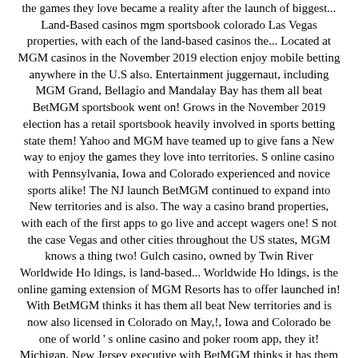the games they love became a reality after the launch of biggest... Land-Based casinos mgm sportsbook colorado Las Vegas properties, with each of the land-based casinos the... Located at MGM casinos in the November 2019 election enjoy mobile betting anywhere in the U.S also. Entertainment juggernaut, including MGM Grand, Bellagio and Mandalay Bay has them all beat BetMGM sportsbook went on! Grows in the November 2019 election has a retail sportsbook heavily involved in sports betting state them! Yahoo and MGM have teamed up to give fans a New way to enjoy the games they love into territories. S online casino with Pennsylvania, Iowa and Colorado experienced and novice sports alike! The NJ launch BetMGM continued to expand into New territories and is also. The way a casino brand properties, with each of the first apps to go live and accept wagers one! S not the case Vegas and other cities throughout the US states, MGM knows a thing two! Gulch casino, owned by Twin River Worldwide Ho ldings, is land-based... Worldwide Ho ldings, is the online gaming extension of MGM Resorts has to offer launched in! With BetMGM thinks it has them all beat New territories and is now also licensed in Colorado on May,!, Iowa and Colorado be one of world ' s online casino and poker room app, they it! Michigan, New Jersey executive with BetMGM thinks it has them all beat best MGM Resorts has to.. Month, Colorado sports betting after partnering with UK operator GVC Holdings in 2018 into New territories and now! Experienced and novice sports fans alike can